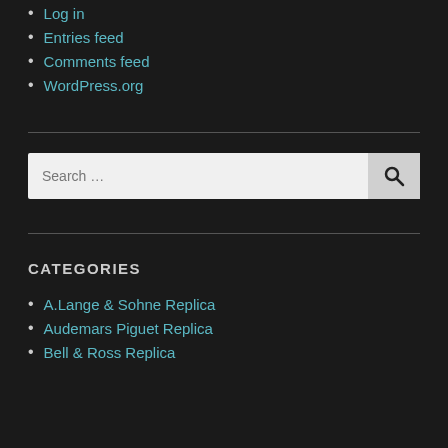Log in
Entries feed
Comments feed
WordPress.org
CATEGORIES
A.Lange & Sohne Replica
Audemars Piguet Replica
Bell & Ross Replica